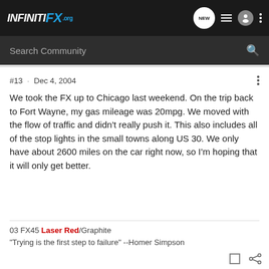INFINITI FX.org — Navigation bar with logo, NEW bubble, list icon, user icon, menu dots
Search Community
#13 · Dec 4, 2004
We took the FX up to Chicago last weekend. On the trip back to Fort Wayne, my gas mileage was 20mpg. We moved with the flow of traffic and didn't really push it. This also includes all of the stop lights in the small towns along US 30. We only have about 2600 miles on the car right now, so I'm hoping that it will only get better.
03 FX45 Laser Red/Graphite
"Trying is the first step to failure" --Homer Simpson